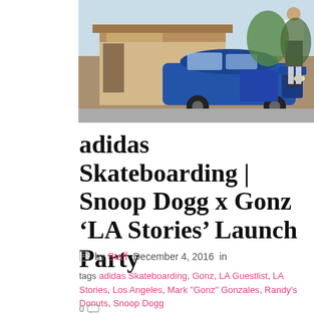[Figure (photo): Outdoor photo of a blue vintage car parked in front of a small shop/stand, with a person standing behind the car wearing white top and dark shorts, sunny day]
adidas Skateboarding | Snoop Dogg x Gonz 'LA Stories' Launch Party
by Staff December 4, 2016 in
tags adidas Skateboarding, Gonz, LA Guestlist, LA Stories, Los Angeles, Mark "Gonz" Gonzales, Randy's Donuts, Snoop Dogg
0
Invite Only – Snoop Dogg x Mark "Gonz" Gonzales 'LA Stories' apparel and footwear collection at the